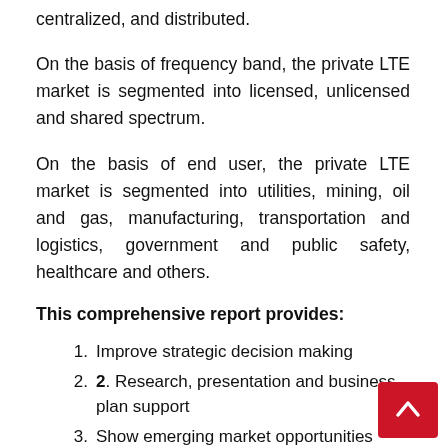centralized, and distributed.
On the basis of frequency band, the private LTE market is segmented into licensed, unlicensed and shared spectrum.
On the basis of end user, the private LTE market is segmented into utilities, mining, oil and gas, manufacturing, transportation and logistics, government and public safety, healthcare and others.
This comprehensive report provides:
Improve strategic decision making
2. Research, presentation and business plan support
Show emerging market opportunities